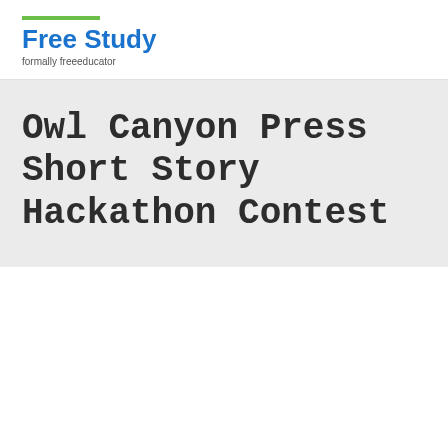Free Study — formally freeeducator
Owl Canyon Press Short Story Hackathon Contest